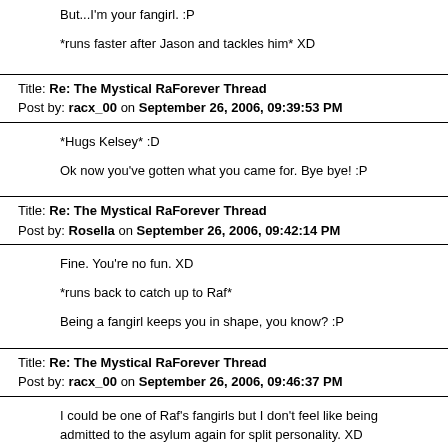But...I'm your fangirl. :P
*runs faster after Jason and tackles him* XD
Title: Re: The Mystical RaForever Thread
Post by: racx_00 on September 26, 2006, 09:39:53 PM
*Hugs Kelsey* :D
Ok now you've gotten what you came for. Bye bye! :P
Title: Re: The Mystical RaForever Thread
Post by: Rosella on September 26, 2006, 09:42:14 PM
Fine. You're no fun. XD
*runs back to catch up to Raf*
Being a fangirl keeps you in shape, you know? :P
Title: Re: The Mystical RaForever Thread
Post by: racx_00 on September 26, 2006, 09:46:37 PM
I could be one of Raf's fangirls but I don't feel like being admitted to the asylum again for split personality. XD